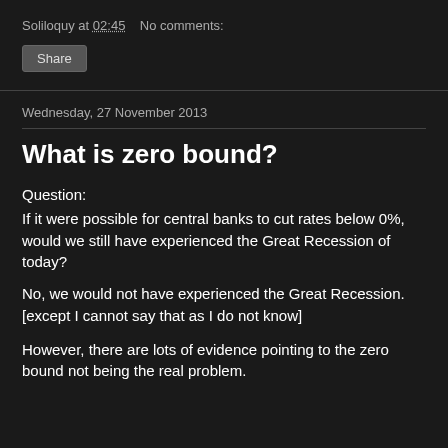Soliloquy at 02:45    No comments:
Share
Wednesday, 27 November 2013
What is zero bound?
Question:
If it were possible for central banks to cut rates below 0%, would we still have experienced the Great Recession of today?
No, we would not have experienced the Great Recession. [except I cannot say that as I do not know]
However, there are lots of evidence pointing to the zero bound not being the real problem.